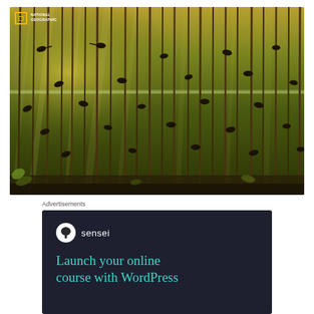[Figure (photo): National Geographic underwater photo showing tadpoles or small fish swimming among tall reed stems in a shallow pond, with golden-green light filtering through the water surface]
Advertisements
[Figure (infographic): Sensei advertisement on dark navy background with Sensei logo (tree icon in circle) and tagline 'Launch your online course with WordPress']